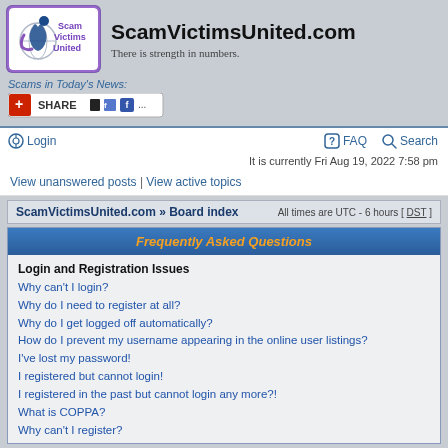[Figure (logo): ScamVictimsUnited logo with purple background and stylized figure]
ScamVictimsUnited.com
There is strength in numbers.
Scams in Today's News:
[Figure (other): Share button with social media icons]
Login
FAQ
Search
It is currently Fri Aug 19, 2022 7:58 pm
View unanswered posts | View active topics
ScamVictimsUnited.com » Board index    All times are UTC - 6 hours [ DST ]
Frequently Asked Questions
Login and Registration Issues
Why can't I login?
Why do I need to register at all?
Why do I get logged off automatically?
How do I prevent my username appearing in the online user listings?
I've lost my password!
I registered but cannot login!
I registered in the past but cannot login any more?!
What is COPPA?
Why can't I register?